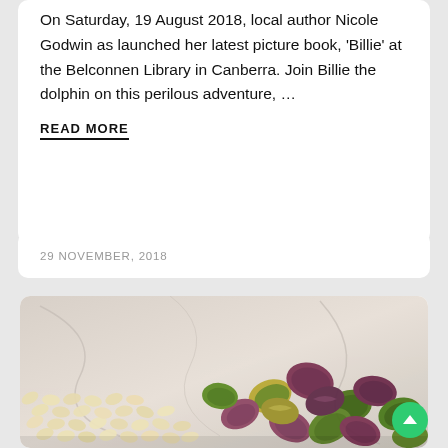On Saturday, 19 August 2018, local author Nicole Godwin as launched her latest picture book, 'Billie' at the Belconnen Library in Canberra. Join Billie the dolphin on this perilous adventure, …
READ MORE
29 NOVEMBER, 2018
[Figure (photo): Close-up photo of a pile of mixed nuts including pine nuts and pistachios on a marble surface]